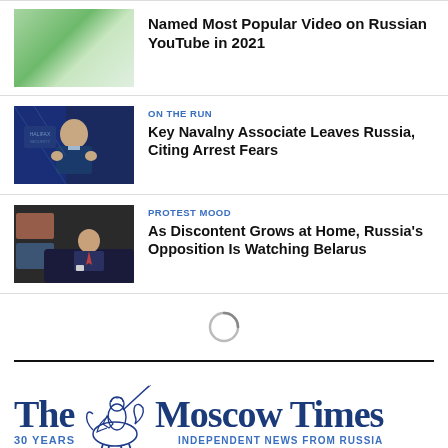Named Most Popular Video on Russian YouTube in 2021
ON THE RUN
Key Navalny Associate Leaves Russia, Citing Arrest Fears
PROTEST MOOD
As Discontent Grows at Home, Russia's Opposition Is Watching Belarus
[Figure (logo): The Moscow Times logo with a knight on horseback illustration, 30 YEARS tagline, INDEPENDENT NEWS FROM RUSSIA]
30 YEARS    INDEPENDENT NEWS FROM RUSSIA